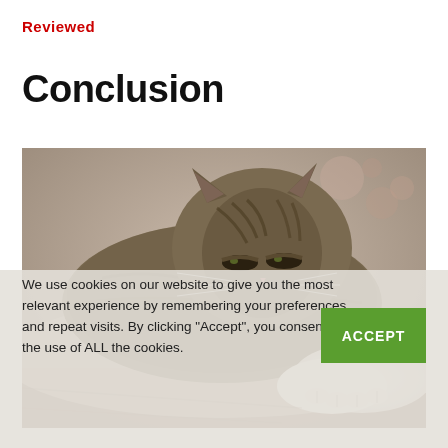Reviewed
Conclusion
[Figure (photo): A tabby cat resting on a surface, eyes partially closed, showing its face and one white paw extended forward. The background is blurred with a floral pattern.]
We use cookies on our website to give you the most relevant experience by remembering your preferences and repeat visits. By clicking "Accept", you consent to the use of ALL the cookies.